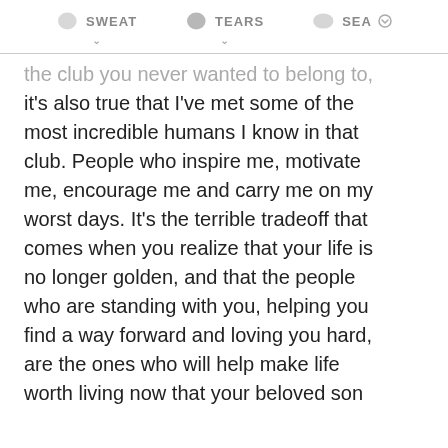SWEAT   TEARS   SEA
the club you never wanted to belong to, it's also true that I've met some of the most incredible humans I know in that club. People who inspire me, motivate me, encourage me and carry me on my worst days. It's the terrible tradeoff that comes when you realize that your life is no longer golden, and that the people who are standing with you, helping you find a way forward and loving you hard, are the ones who will help make life worth living now that your beloved son